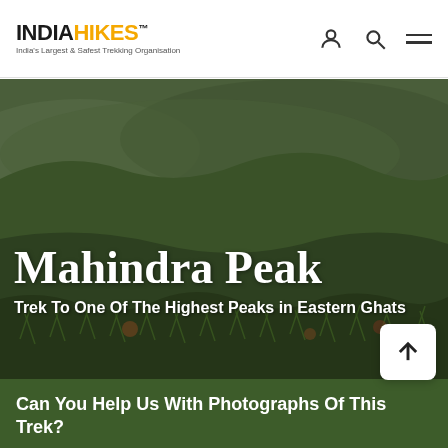INDIAHIKES™ — India's Largest & Safest Trekking Organisation
[Figure (photo): Aerial/wide-angle photo of Mahindra Peak landscape showing green rolling hills with sparse grass and shrubs in the Eastern Ghats]
Mahindra Peak
Trek To One Of The Highest Peaks in Eastern Ghats
Can You Help Us With Photographs Of This Trek?
We are looking to enrich this documentation with more photos. Pictures go a long way in explaining the trail, more than words